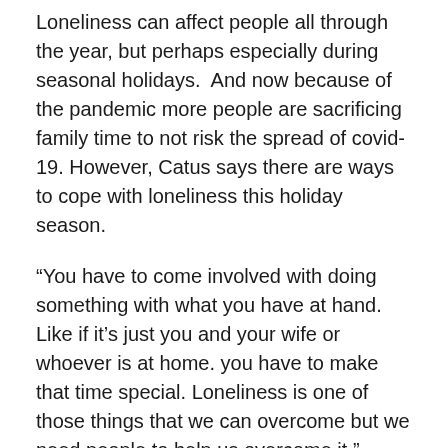Loneliness can affect people all through the year, but perhaps especially during seasonal holidays.  And now because of the pandemic more people are sacrificing family time to not risk the spread of covid-19. However, Catus says there are ways to cope with loneliness this holiday season.
“You have to come involved with doing something with what you have at hand. Like if it’s just you and your wife or whoever is at home. you have to make that time special. Loneliness is one of those things that we can overcome but we need people to help us overcome it.”
Another way to cope with loneliness is getting active in the community. Whether it’s participating in church activities or volunteering at your local food pantry. Getting involved with community projects are all ways to interact with people and defeat loneliness.